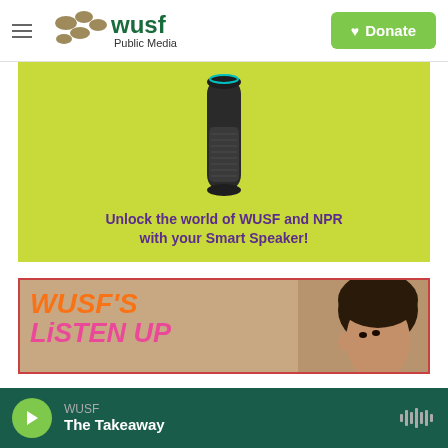[Figure (logo): WUSF Public Media logo with hamburger menu]
[Figure (illustration): Green banner with Amazon Echo smart speaker and text: Unlock the world of WUSF and NPR with your Smart Speaker!]
[Figure (illustration): WUSF's Listen Up banner with person's face partially visible]
WUSF - The Takeaway (audio player bar)